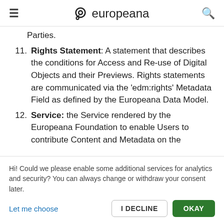europeana
Parties.
11. Rights Statement: A statement that describes the conditions for Access and Re-use of Digital Objects and their Previews. Rights statements are communicated via the 'edm:rights' Metadata Field as defined by the Europeana Data Model.
12. Service: the Service rendered by the Europeana Foundation to enable Users to contribute Content and Metadata on the
Hi! Could we please enable some additional services for analytics and security? You can always change or withdraw your consent later.
Let me choose | I DECLINE | OKAY